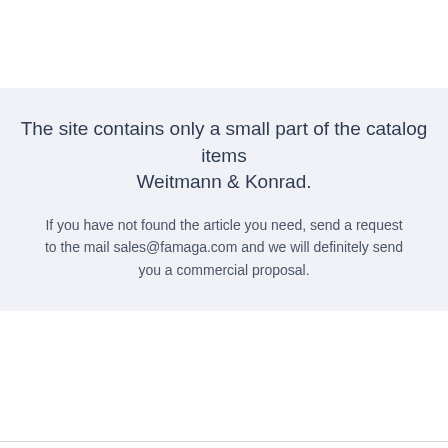The site contains only a small part of the catalog items Weitmann & Konrad.
If you have not found the article you need, send a request to the mail sales@famaga.com and we will definitely send you a commercial proposal.
About the manufacturer